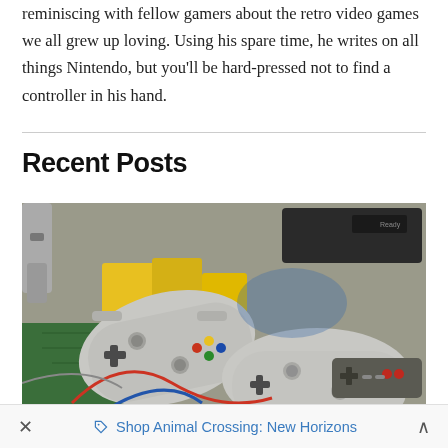reminiscing with fellow gamers about the retro video games we all grew up loving. Using his spare time, he writes on all things Nintendo, but you'll be hard-pressed not to find a controller in his hand.
Recent Posts
[Figure (photo): A pile of retro video game controllers and cartridges including PlayStation-style controllers, an NES controller, game cartridges with yellow packaging, and various gaming consoles in the background.]
× Shop Animal Crossing: New Horizons ^